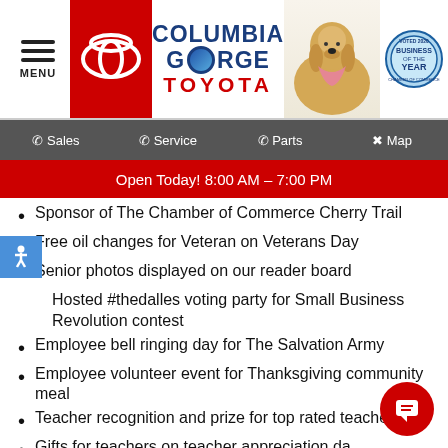[Figure (logo): Columbia Gorge Toyota dealership header with Toyota logo, golden retriever dog, and Business of the Year badge]
Sales | Service | Parts | Map
Open Today! 8:00 AM - 7:00 PM
Sponsor of The Chamber of Commerce Cherry Trail
Free oil changes for Veteran on Veterans Day
Senior photos displayed on our reader board
Hosted #thedalles voting party for Small Business Revolution contest
Employee bell ringing day for The Salvation Army
Employee volunteer event for Thanksgiving community meal
Teacher recognition and prize for top rated teacher
Gifts for teachers on teacher appreciation day, The Dalles Easter egg hunt, title sponsor
Gifts delivered to nutrition workers and sponsors